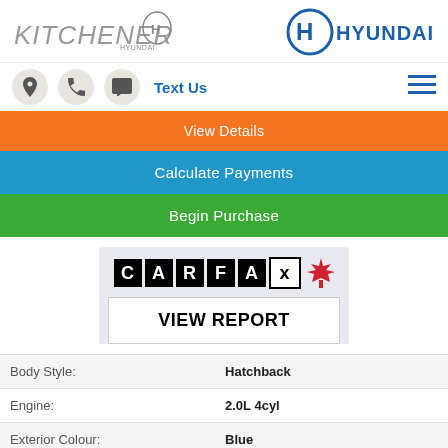[Figure (logo): Kitchener Hyundai dealership logo with Hyundai branding on right]
[Figure (screenshot): Navigation bar with location, phone, chat icons, Text Us label, and hamburger menu]
View Details
Calculate Payments
Begin Purchase
[Figure (logo): CARFAX Canada logo with maple leaf]
VIEW REPORT
| Field | Value |
| --- | --- |
| Body Style: | Hatchback |
| Engine: | 2.0L 4cyl |
| Exterior Colour: | Blue |
| VIN: | KNDJP3A52J7517126 |